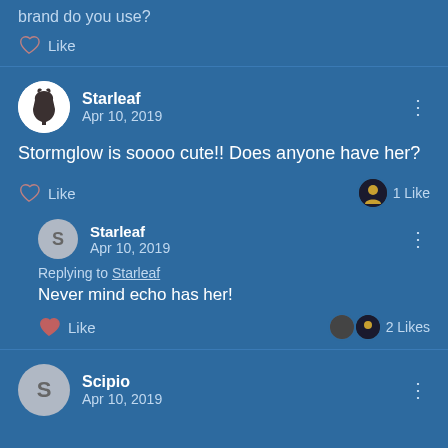brand do you use?
Like
Starleaf
Apr 10, 2019
Stormglow is soooo cute!! Does anyone have her?
Like   1 Like
Starleaf
Apr 10, 2019
Replying to Starleaf
Never mind echo has her!
Like   2 Likes
Scipio
Apr 10, 2019